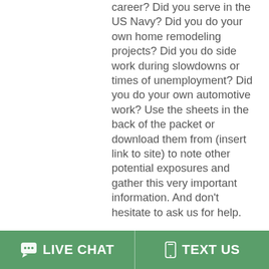career? Did you serve in the US Navy? Did you do your own home remodeling projects? Did you do side work during slowdowns or times of unemployment? Did you do your own automotive work? Use the sheets in the back of the packet or download them from (insert link to site) to note other potential exposures and gather this very important information. And don't hesitate to ask us for help.
GATHER YOUR UNION RECORDS AND SOCIAL SECURITY RECORDS
LIVE CHAT   TEXT US